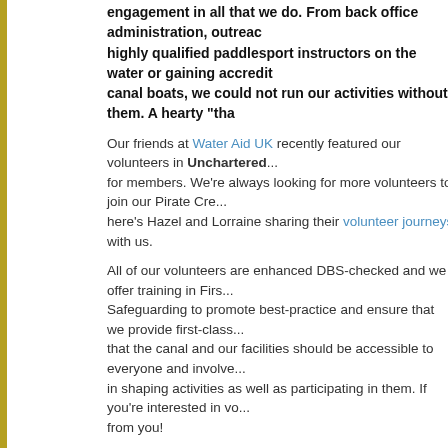engagement in all that we do. From back office administration, outreach, highly qualified paddlesport instructors on the water or gaining accreditation on canal boats, we could not run our activities without them. A hearty "tha...
Our friends at Water Aid UK recently featured our volunteers in Unchartered... for members. We're always looking for more volunteers to join our Pirate Cre... here's Hazel and Lorraine sharing their volunteer journeys with us.
All of our volunteers are enhanced DBS-checked and we offer training in Firs... Safeguarding to promote best-practice and ensure that we provide first-class... that the canal and our facilities should be accessible to everyone and involve... in shaping activities as well as participating in them. If you're interested in vo... from you!
Canal Boat Skippers and Crew:
We subsidise and run boat trips for external groups on our two canal boats. E... skipper and a member of trained crew. If you are interested in becoming a qu... that you initially join us as a trainee crew member and help out on trips. Then... and commit to enough trips, we can arrange in-house training for the Certificate... Management (CCBM).
The training is expensive and costs us over £400 per person, so we have to e... role and are dedicated to it before accepting the commitment. Alternatively, yo... volunteer crew member if you prefer - there will still be plenty of opportunities... further development.
Paddle Activity Assistants: